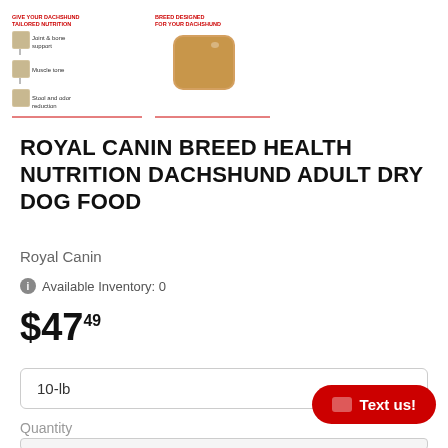[Figure (illustration): Royal Canin Dachshund product infographic showing two panels: left panel titled 'GIVE YOUR DACHSHUND TAILORED NUTRITION' with icons for Joint & bone support, Muscle tone, Stool and odor reduction with red lines; right panel titled 'BREED DESIGNED FOR YOUR DACHSHUND' showing a kibble piece with red lines.]
ROYAL CANIN BREED HEALTH NUTRITION DACHSHUND ADULT DRY DOG FOOD
Royal Canin
Available Inventory: 0
$47.49
10-lb
Quantity